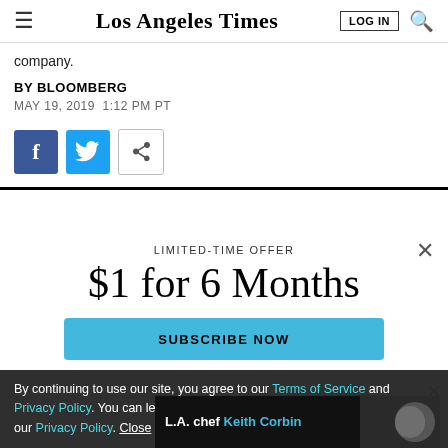Los Angeles Times
company.
BY BLOOMBERG
MAY 19, 2019 1:12 PM PT
[Figure (other): Social share buttons: Facebook, Twitter, and generic share icon]
[Figure (infographic): Subscription modal overlay: LIMITED-TIME OFFER / $1 for 6 Months / SUBSCRIBE NOW button]
By continuing to use our site, you agree to our Terms of Service and Privacy Policy. You can learn more about how we use cookies by reviewing our Privacy Policy. Close
[Figure (photo): Ad banner: L.A. chef Keith Corbin with photo]